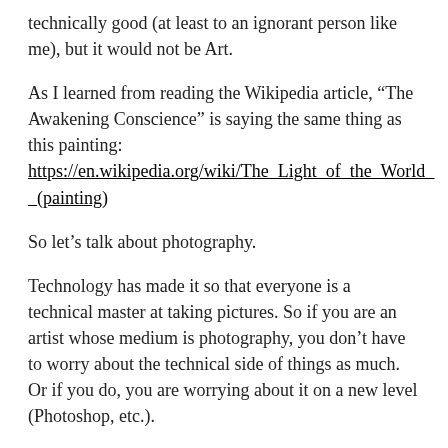technically good (at least to an ignorant person like me), but it would not be Art.
As I learned from reading the Wikipedia article, “The Awakening Conscience” is saying the same thing as this painting: https://en.wikipedia.org/wiki/The_Light_of_the_World_(painting)
So let’s talk about photography.
Technology has made it so that everyone is a technical master at taking pictures. So if you are an artist whose medium is photography, you don’t have to worry about the technical side of things as much. Or if you do, you are worrying about it on a new level (Photoshop, etc.).
As far as complaints about the market for photography, most people are not looking for Art. I think a lot of the old masters made a living painting portraits and things like that, right? So it’s not strange that photographers who are into Art are going to need to do weddings and other stuff like that. So in some ways, the margin…